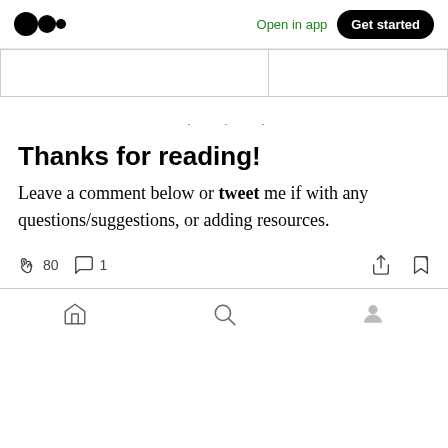Medium logo | Open in app | Get started
|  |
· · ·
Thanks for reading!
Leave a comment below or tweet me if with any questions/suggestions, or adding resources.
👏 80  💬 1  [share] [bookmark]
🏠  🔍  👤